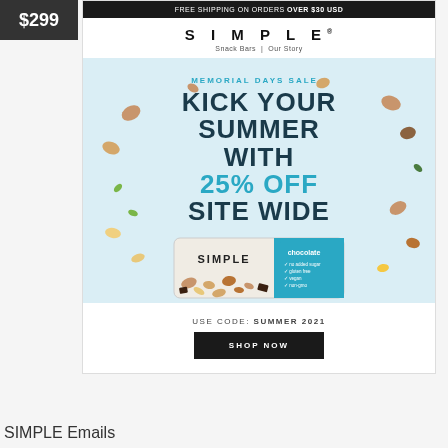$299
FREE SHIPPING ON ORDERS OVER $30 USD
SIMPLE
Snack Bars  |  Our Story
[Figure (illustration): Memorial Days Sale promotional banner with light blue background, scattered nuts and seeds, large bold text reading KICK YOUR SUMMER WITH 25% OFF SITE WIDE, and a Simple snack bar product image at bottom]
USE CODE: SUMMER 2021
SHOP NOW
SIMPLE Emails